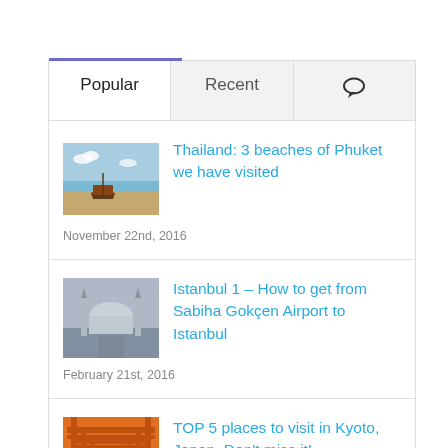Popular | Recent | [comments icon]
Thailand: 3 beaches of Phuket we have visited
November 22nd, 2016
Istanbul 1 – How to get from Sabiha Gokçen Airport to Istanbul
February 21st, 2016
TOP 5 places to visit in Kyoto, Japan. Don't miss it!
June 11th, 2016